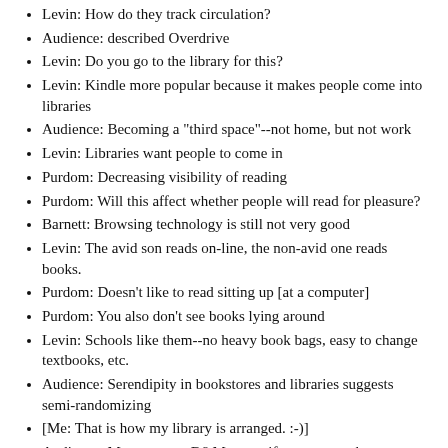Levin: How do they track circulation?
Audience: described Overdrive
Levin: Do you go to the library for this?
Levin: Kindle more popular because it makes people come into libraries
Audience: Becoming a "third space"--not home, but not work
Levin: Libraries want people to come in
Purdom: Decreasing visibility of reading
Purdom: Will this affect whether people will read for pleasure?
Barnett: Browsing technology is still not very good
Levin: The avid son reads on-line, the non-avid one reads books.
Purdom: Doesn't like to read sitting up [at a computer]
Purdom: You also don't see books lying around
Levin: Schools like them--no heavy book bags, easy to change textbooks, etc.
Audience: Serendipity in bookstores and libraries suggests semi-randomizing
[Me: That is how my library is arranged. :-)]
Audience: Must support B&M stores if you want to browse there
Audience: How does a Kindle handle non-fiction (graphs, pictures, index)?